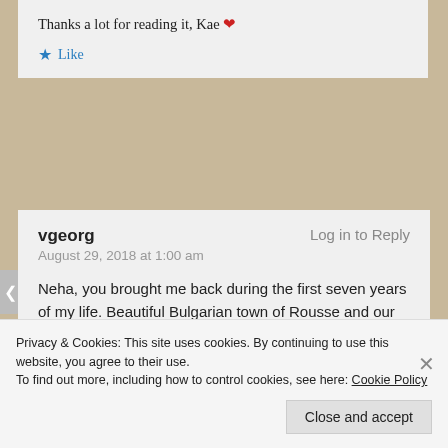Thanks a lot for reading it, Kae ❤
★ Like
vgeorg
Log in to Reply
August 29, 2018 at 1:00 am
Neha, you brought me back during the first seven years of my life. Beautiful Bulgarian town of Rousse and our home on the bank of river Danube. I have wonderful memories. Congratulations for your post today. 🙂
Privacy & Cookies: This site uses cookies. By continuing to use this website, you agree to their use. To find out more, including how to control cookies, see here: Cookie Policy
Close and accept